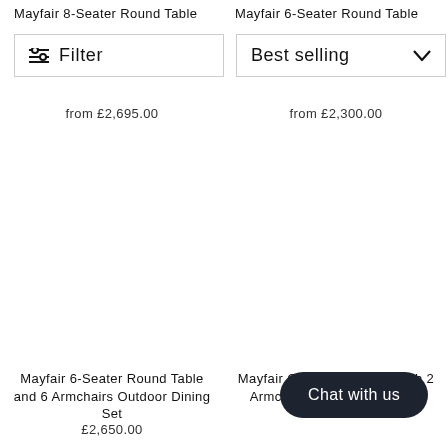Mayfair 8-Seater Round Table
Mayfair 6-Seater Round Table
Filter
Best selling
from £2,695.00
from £2,300.00
[Figure (other): Empty white product image area for two products]
Mayfair 6-Seater Round Table and 6 Armchairs Outdoor Dining Set
Mayfair Outdoor Sofa Set with 2 Armchairs 2-Seater Sofa with
£2,650.00
Chat with us